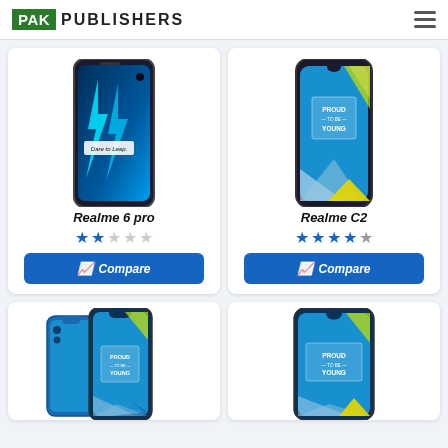PAK PUBLISHERS
[Figure (photo): Realme 6 pro smartphone product photo with lightning bolt design on screen]
Realme 6 pro
[Figure (infographic): 2-star rating out of 5 stars (blue filled stars)]
[Figure (photo): Realme C2 smartphone product photo with Proud to be Young wallpaper]
Realme C2
[Figure (infographic): 4-star rating out of 5 stars (blue filled stars, one grey)]
[Figure (photo): Realme smartphone bottom-left with Proud to be Young wallpaper (partial)]
[Figure (photo): Realme smartphone bottom-right with Proud to be Young wallpaper (partial)]